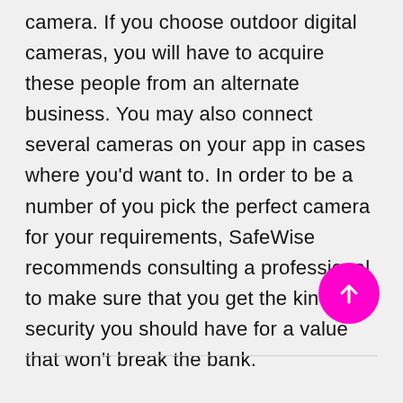camera. If you choose outdoor digital cameras, you will have to acquire these people from an alternate business. You may also connect several cameras on your app in cases where you'd want to. In order to be a number of you pick the perfect camera for your requirements, SafeWise recommends consulting a professional to make sure that you get the kind of security you should have for a value that won't break the bank.
[Figure (other): Magenta circular scroll-to-top button with white upward arrow]